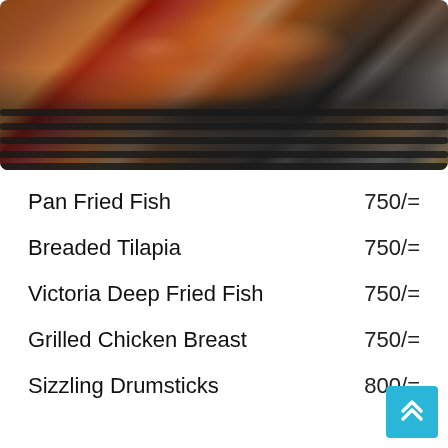[Figure (photo): Close-up photo of grilled meat ribs on a barbecue grill with dark grill grates visible in the lower portion]
| Item | Price |
| --- | --- |
| Pan Fried Fish | 750/= |
| Breaded Tilapia | 750/= |
| Victoria Deep Fried Fish | 750/= |
| Grilled Chicken Breast | 750/= |
| Sizzling Drumsticks | 800/= |